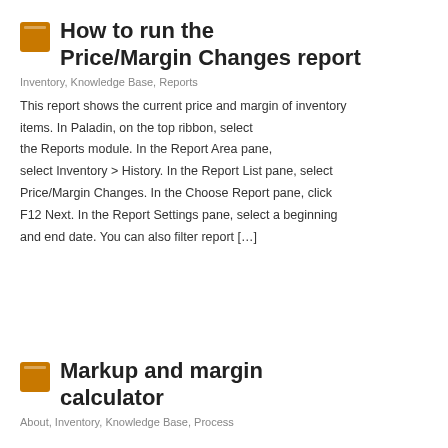How to run the Price/Margin Changes report
Inventory, Knowledge Base, Reports
This report shows the current price and margin of inventory items. In Paladin, on the top ribbon, select the Reports module. In the Report Area pane, select Inventory > History. In the Report List pane, select Price/Margin Changes. In the Choose Report pane, click F12 Next. In the Report Settings pane, select a beginning and end date. You can also filter report […]
Markup and margin calculator
About, Inventory, Knowledge Base, Process